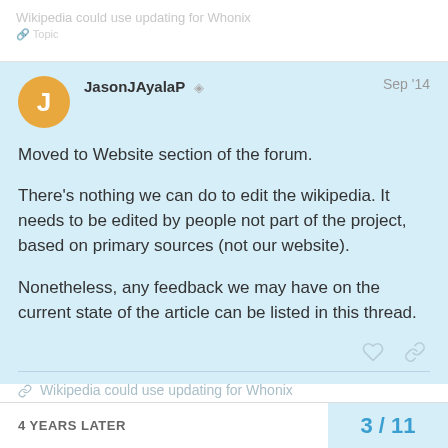Wikipedia could use updating for Whonix
JasonJAyalaP  Sep '14
Moved to Website section of the forum.

There's nothing we can do to edit the wikipedia. It needs to be edited by people not part of the project, based on primary sources (not our website).

Nonetheless, any feedback we may have on the current state of the article can be listed in this thread.
Wikipedia could use updating for Whonix
4 YEARS LATER
3 / 11